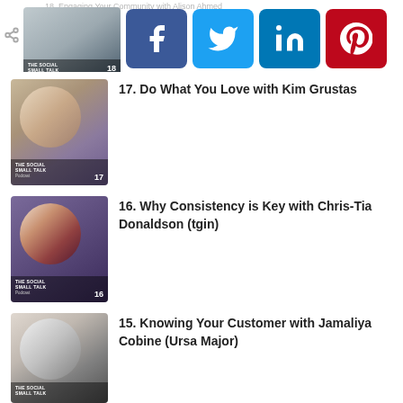[Figure (screenshot): Top partial podcast episode 18 thumbnail with social share buttons (Facebook, Twitter, LinkedIn, Pinterest) overlaid. Title text '18. Engaging Your Community with Alison Ahmed' partially visible at top.]
17. Do What You Love with Kim Grustas
16. Why Consistency is Key with Chris-Tia Donaldson (tgin)
15. Knowing Your Customer with Jamaliya Cobine (Ursa Major)